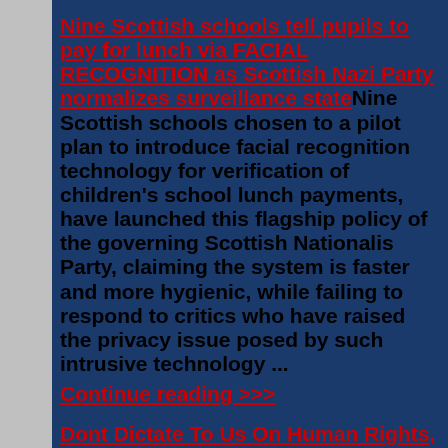Nine Scottish schools tell pupils to pay for lunch via FACIAL RECOGNITION as Scottish Nazi Party normalizes surveillance state
Nine Scottish schools chosen to a pilot plan to introduce facial recognition technology for verification of children's school lunch payments, have launched this flagship policy of the governing Scottish Nationalis Party, claiming the system is faster and more hygienic, while failing to respond to critics who have raised the privacy issue posed by such intrusive technology ...
Continue reading >>>
Dont Dictate To Us On Human Rights,